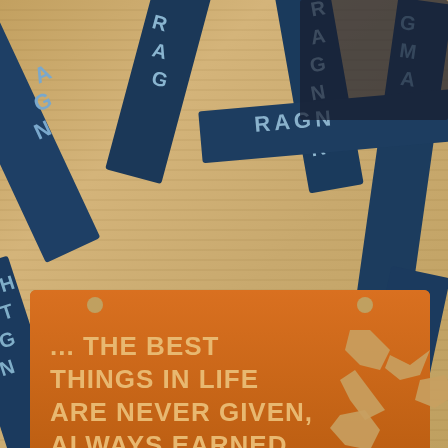[Figure (photo): Close-up photograph of an orange/gold Ragnar race finisher medal on a tan burlap surface, surrounded by dark navy blue ribbon straps with 'RAGNAR' text printed in light blue. The medal is a rectangular metal plate with laser-cut Ragnar logo (stylized R) on the right side and engraved text on the left reading '... THE BEST THINGS IN LIFE ARE NEVER GIVEN, ALWAYS EARNED.' The bottom of the medal shows partial text 'SH ANYTHING'. Two small circular holes punched near the top edge for ribbon attachment.]